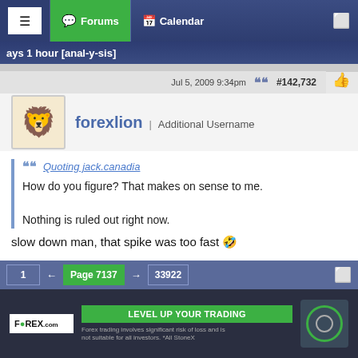Forums | Calendar
ays 1 hour [anal-y-sis]
Jul 5, 2009 9:34pm  #142,732
forexlion | Additional Username
Quoting jack.canadia
How do you figure? That makes on sense to me.

Nothing is ruled out right now.
slow down man, that spike was too fast 🤣
[Figure (screenshot): FOREX.com advertisement banner showing logo and 'Trade with the' text]
1 ← Page 7137 → 33922
[Figure (screenshot): FOREX.com ad banner - LEVEL UP YOUR TRADING. Forex trading involves significant risk of loss and is not suitable for all investors. *All StoneX]